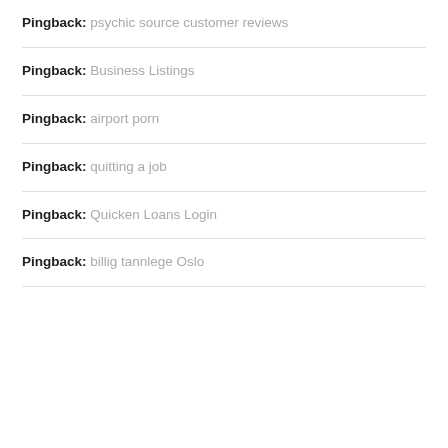Pingback: psychic source customer reviews
Pingback: Business Listings
Pingback: airport porn
Pingback: quitting a job
Pingback: Quicken Loans Login
Pingback: billig tannlege Oslo